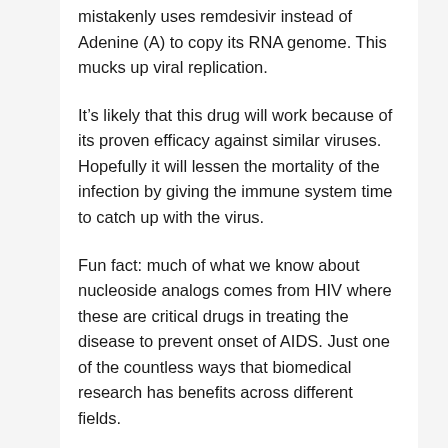mistakenly uses remdesivir instead of Adenine (A) to copy its RNA genome. This mucks up viral replication.
It’s likely that this drug will work because of its proven efficacy against similar viruses. Hopefully it will lessen the mortality of the infection by giving the immune system time to catch up with the virus.
Fun fact: much of what we know about nucleoside analogs comes from HIV where these are critical drugs in treating the disease to prevent onset of AIDS. Just one of the countless ways that biomedical research has benefits across different fields.